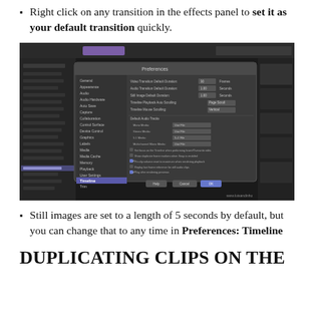Right click on any transition in the effects panel to set it as your default transition quickly.
[Figure (screenshot): Screenshot of Adobe Premiere Pro Preferences dialog showing Timeline settings including default transition durations and still image duration options.]
Still images are set to a length of 5 seconds by default, but you can change that to any time in Preferences: Timeline
DUPLICATING CLIPS ON THE TIMELINE